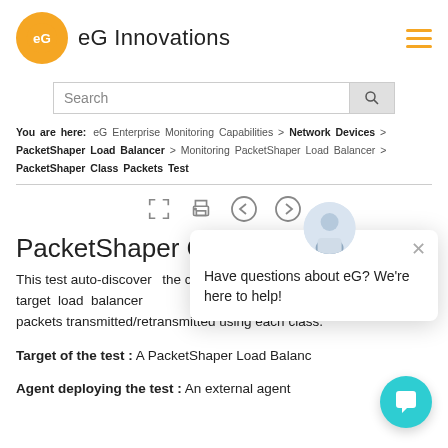eG Innovations
Search
You are here: eG Enterprise Monitoring Capabilities > Network Devices > PacketShaper Load Balancer > Monitoring PacketShaper Load Balancer > PacketShaper Class Packets Test
PacketShaper Class Packets Test
This test auto-discovers the classes configured on the target load balancer and reports the number of packets transmitted/retransmitted using each class.
Target of the test : A PacketShaper Load Balancer
Agent deploying the test : An external agent